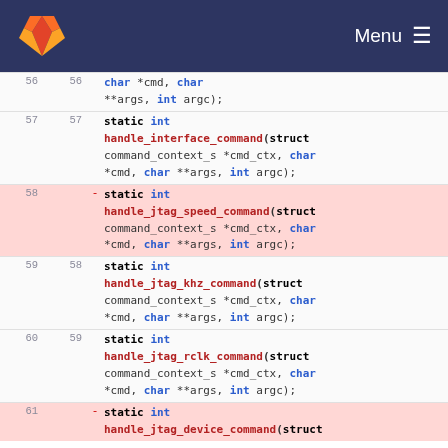GitLab — Menu
56 56   char *cmd, char **args, int argc);
57 57   static int handle_interface_command(struct command_context_s *cmd_ctx, char *cmd, char **args, int argc);
58  -   static int handle_jtag_speed_command(struct command_context_s *cmd_ctx, char *cmd, char **args, int argc);
59 58   static int handle_jtag_khz_command(struct command_context_s *cmd_ctx, char *cmd, char **args, int argc);
60 59   static int handle_jtag_rclk_command(struct command_context_s *cmd_ctx, char *cmd, char **args, int argc);
61  -   static int handle_jtag_device_command(struct ...